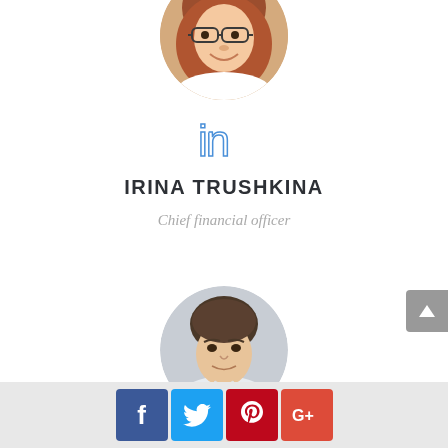[Figure (photo): Circular profile photo of a smiling woman with red hair and glasses, holding a phone]
[Figure (logo): LinkedIn 'in' icon in blue outline style]
IRINA TRUSHKINA
Chief financial officer
[Figure (photo): Circular profile photo of a young man in a white shirt]
[Figure (infographic): Footer bar with social media icon buttons: Facebook (blue), Twitter (light blue), Pinterest (red), Google+ (red-orange)]